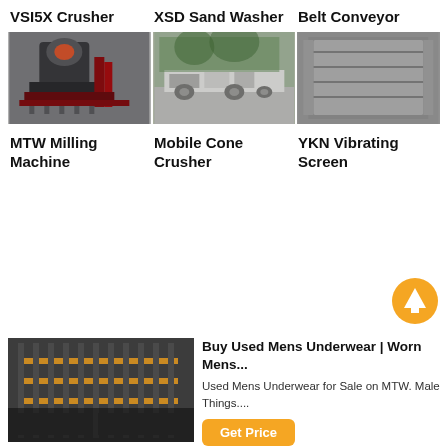VSI5X Crusher
XSD Sand Washer
Belt Conveyor
[Figure (photo): Industrial VSI5X crusher machine in a factory setting with red and black metal structure and stairs]
[Figure (photo): XSD Sand Washer mobile unit loaded on a truck outdoors near green trees]
[Figure (photo): Belt Conveyor metallic inclined conveyor in a warehouse]
MTW Milling Machine
Mobile Cone Crusher
YKN Vibrating Screen
[Figure (photo): Interior industrial photo of MTW milling machine with orange structural elements]
Buy Used Mens Underwear | Worn Mens...
Used Mens Underwear for Sale on MTW. Male Things....
Get Price